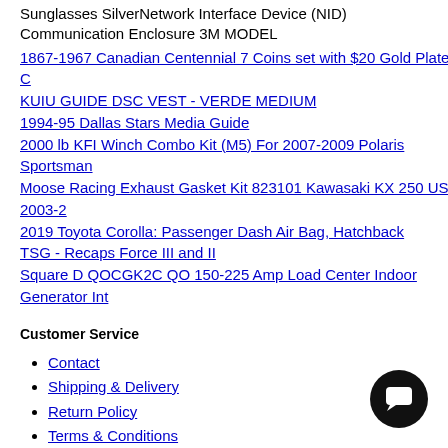Sunglasses SilverNetwork Interface Device (NID) Communication Enclosure 3M MODEL
1867-1967 Canadian Centennial 7 Coins set with $20 Gold Plated C
KUIU GUIDE DSC VEST - VERDE MEDIUM
1994-95 Dallas Stars Media Guide
2000 lb KFI Winch Combo Kit (M5) For 2007-2009 Polaris Sportsman
Moose Racing Exhaust Gasket Kit 823101 Kawasaki KX 250 US 2003-2
2019 Toyota Corolla: Passenger Dash Air Bag, Hatchback
TSG - Recaps Force III and II
Square D QOCGK2C QO 150-225 Amp Load Center Indoor Generator Int
Customer Service
Contact
Shipping & Delivery
Return Policy
Terms & Conditions
FAQs